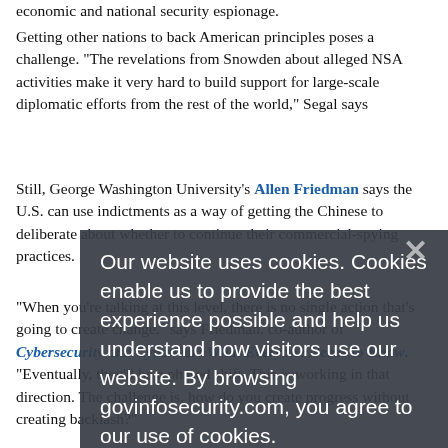economic and national security espionage.
Getting other nations to back American principles poses a challenge. "The revelations from Snowden about alleged NSA activities make it very hard to build support for large-scale diplomatic efforts from the rest of the world," Segal says
Still, George Washington University's Allen Friedman says the U.S. can use indictments as a way of getting the Chinese to deliberate about whether to continue their commercial-spying practices.
"When you're talking at this level, there is no single action that's going to create change," says Friedman, co-author of Cybersecurity and Cyberwar: What Everyone Needs to Know. "Eventually, they'll be a phased shift. This is working in that direction. The challenge is, how do you create progress without creating backlash?"
Our website uses cookies. Cookies enable us to provide the best experience possible and help us understand how visitors use our website. By browsing govinfosecurity.com, you agree to our use of cookies.